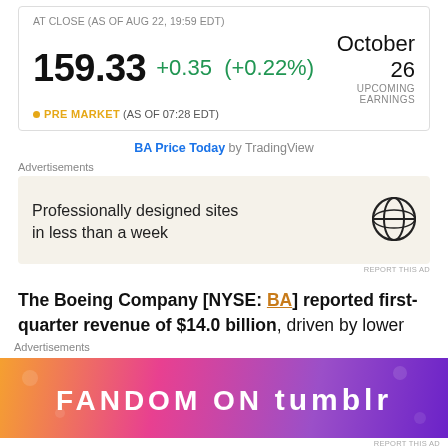AT CLOSE (AS OF AUG 22, 19:59 EDT)
159.33 +0.35 (+0.22%) | October 26 UPCOMING EARNINGS
• PRE MARKET (AS OF 07:28 EDT)
BA Price Today by TradingView
Advertisements
[Figure (other): WordPress advertisement: 'Professionally designed sites in less than a week' with WordPress logo]
REPORT THIS AD
The Boeing Company [NYSE: BA] reported first-quarter revenue of $14.0 billion, driven by lower defense volume and charges on fixed-price defense
Advertisements
[Figure (other): Fandom on Tumblr advertisement banner with colorful gradient background]